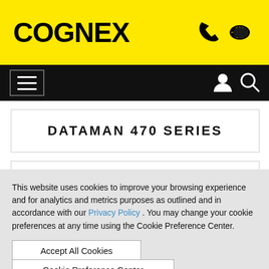COGNEX
DATAMAN 470 SERIES
This website uses cookies to improve your browsing experience and for analytics and metrics purposes as outlined and in accordance with our Privacy Policy . You may change your cookie preferences at any time using the Cookie Preference Center.
Accept All Cookies
Cookie Preference Center